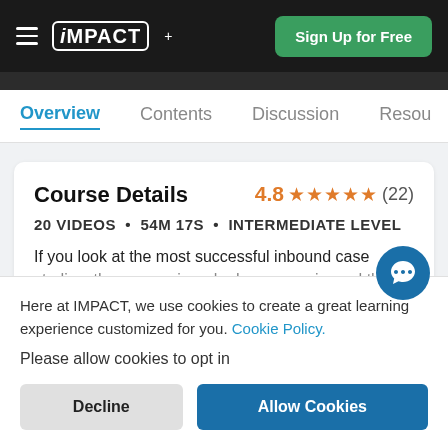iMPACT+ | Sign Up for Free
Overview | Contents | Discussion | Resou
Course Details
4.8 ★★★★★ (22)
20 VIDEOS • 54M 17S • INTERMEDIATE LEVEL
If you look at the most successful inbound case studies, the companies who have experienced the
Here at IMPACT, we use cookies to create a great learning experience customized for you. Cookie Policy.

Please allow cookies to opt in
Decline
Allow Cookies